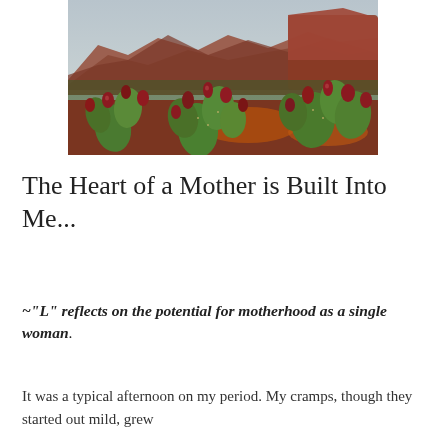[Figure (photo): Photograph of prickly pear cacti with red fruit in the foreground, and red rock canyon mountains in the background under a cloudy sky.]
The Heart of a Mother is Built Into Me...
~“L” reflects on the potential for motherhood as a single woman.
It was a typical afternoon on my period. My cramps, though they started out mild, grew